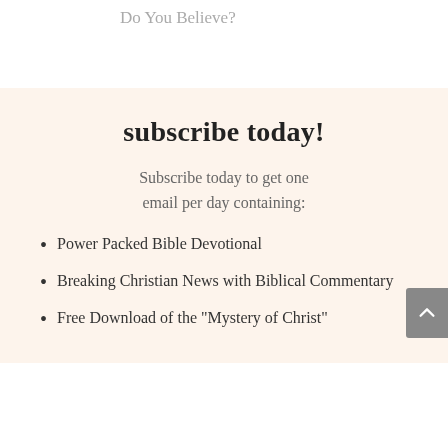Do You Believe?
subscribe today!
Subscribe today to get one email per day containing:
Power Packed Bible Devotional
Breaking Christian News with Biblical Commentary
Free Download of the "Mystery of Christ"